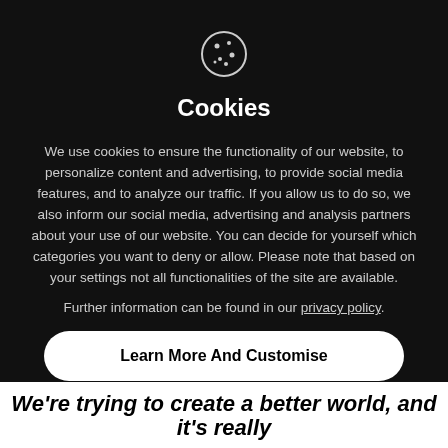[Figure (illustration): Cookie icon — circle with dots representing a cookie/biscuit]
Cookies
We use cookies to ensure the functionality of our website, to personalize content and advertising, to provide social media features, and to analyze our traffic. If you allow us to do so, we also inform our social media, advertising and analysis partners about your use of our website. You can decide for yourself which categories you want to deny or allow. Please note that based on your settings not all functionalities of the site are available.
Further information can be found in our privacy policy.
Learn More And Customise
Reject All
Accept All
We're trying to create a better world, and it's really